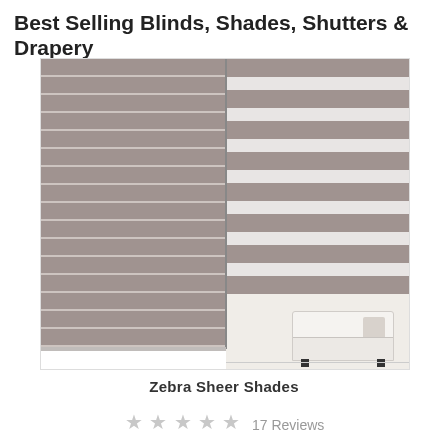Best Selling Blinds, Shades, Shutters & Drapery
[Figure (photo): Product photo showing zebra sheer shades with two views: left side shows closed/opaque position with horizontal slats in taupe/grey color, right side shows the zebra striped pattern with alternating opaque and sheer horizontal bands. Room setting visible in background with white sofa.]
Zebra Sheer Shades
★★★★★ 17 Reviews